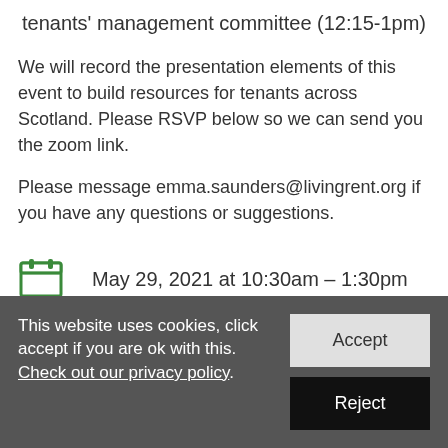tenants' management committee (12:15-1pm)
We will record the presentation elements of this event to build resources for tenants across Scotland. Please RSVP below so we can send you the zoom link.
Please message emma.saunders@livingrent.org if you have any questions or suggestions.
May 29, 2021 at 10:30am – 1:30pm
This website uses cookies, click accept if you are ok with this. Check out our privacy policy.